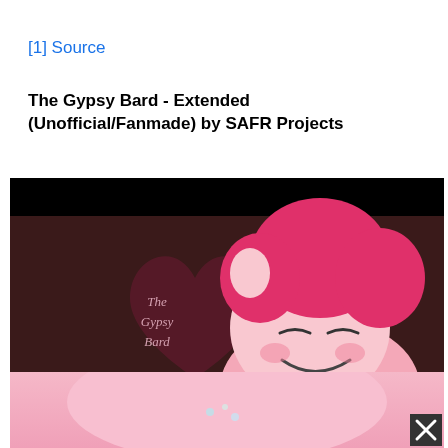[1] Source
The Gypsy Bard - Extended (Unofficial/Fanmade) by SAFR Projects
[Figure (screenshot): Screenshot of a video thumbnail showing an animated pink pony character with closed eyes and a big smile, resting chin on hooves. In the background is a dark heart shape with the cursive text 'The Gypsy Bard'. The video frame has a black letterbox bar at the top. Below the main video frame is a partially visible second frame showing the same pony from a different angle with a pink background, and a small dark close button with an X in the bottom-right corner.]